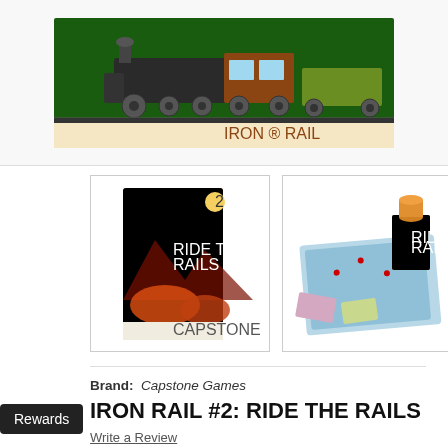[Figure (photo): Top portion of product image showing a board game box with a train illustration (Iron Rail), partially cropped at top]
[Figure (photo): Thumbnail image showing the Ride the Rails board game box with orange/red mountain artwork]
[Figure (photo): Thumbnail image showing the Ride the Rails board game components spread out with a game board and box]
Brand: Capstone Games
IRON RAIL #2: RIDE THE RAILS
Write a Review
★★★★★ 2 reviews
$40.00 $27.97
(You save $12.03)